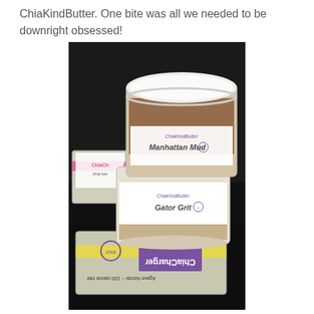ChiaKindButter. One bite was all we needed to be downright obsessed!
[Figure (photo): Product photo showing two jars of ChiaKindButter (Manhattan Mud and Gator Grit flavors) stacked on a dark surface, with ChiaCharger energy bar wrappers (Agave Nectar - 100 calorie bite) arranged around them.]